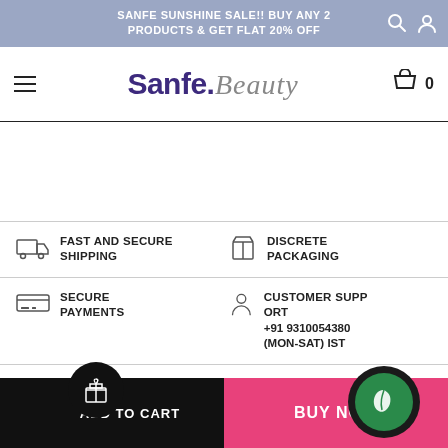SANFE SUNSHINE SALE!! BUY ANY 2 PRODUCTS & GET FLAT 20% OFF
[Figure (logo): Sanfe.Beauty logo with hamburger menu and shopping cart icon showing 0 items]
FAST AND SECURE SHIPPING
DISCRETE PACKAGING
SECURE PAYMENTS
CUSTOMER SUPPORT +91 9310054380 (MON-SAT) IST
ADD TO CART
BUY NOW